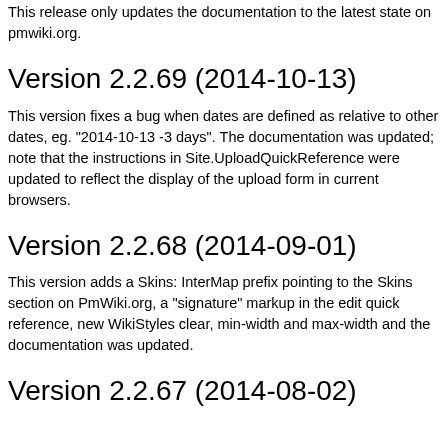This release only updates the documentation to the latest state on pmwiki.org.
Version 2.2.69 (2014-10-13)
This version fixes a bug when dates are defined as relative to other dates, eg. "2014-10-13 -3 days". The documentation was updated; note that the instructions in Site.UploadQuickReference were updated to reflect the display of the upload form in current browsers.
Version 2.2.68 (2014-09-01)
This version adds a Skins: InterMap prefix pointing to the Skins section on PmWiki.org, a "signature" markup in the edit quick reference, new WikiStyles clear, min-width and max-width and the documentation was updated.
Version 2.2.67 (2014-08-02)